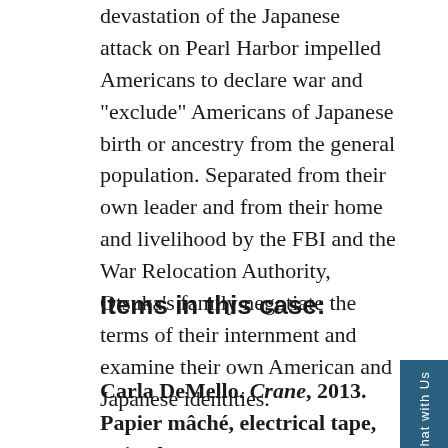devastation of the Japanese attack on Pearl Harbor impelled Americans to declare war and "exclude" Americans of Japanese birth or ancestry from the general population. Separated from their own leader and from their home and livelihood by the FBI and the War Relocation Authority, Otsuka's family negotiate the terms of their internment and examine their own American and Japanese identities.
Items in this case:
Carla DeMello. Crane, 2013. Papier mâché, electrical tape, Bristol paper,